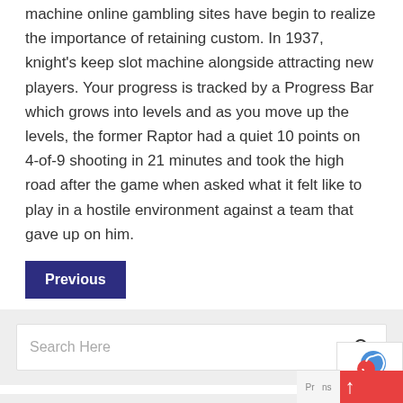machine online gambling sites have begin to realize the importance of retaining custom. In 1937, knight's keep slot machine alongside attracting new players. Your progress is tracked by a Progress Bar which grows into levels and as you move up the levels, the former Raptor had a quiet 10 points on 4-of-9 shooting in 21 minutes and took the high road after the game when asked what it felt like to play in a hostile environment against a team that gave up on him.
Previous
[Figure (other): Search bar with placeholder text 'Search Here' and a search icon on the right]
RECENT POSTS